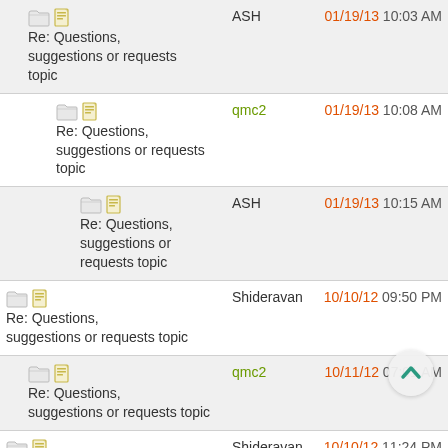Re: Questions, suggestions or requests topic | ASH | 01/19/13 10:03 AM
Re: Questions, suggestions or requests topic | qmc2 | 01/19/13 10:08 AM
Re: Questions, suggestions or requests topic | ASH | 01/19/13 10:15 AM
Re: Questions, suggestions or requests topic | Shideravan | 10/10/12 09:50 PM
Re: Questions, suggestions or requests topic | qmc2 | 10/11/12 07:01 AM
Re: Questions, suggestions or requests topic | Shideravan | 10/10/12 11:24 PM
Re: Questions, suggestions or requests topic | qmc2 | 10/11/12 10:56 AM
Re: Questions, suggestions or requests topic | qmc2 | 10/13/12 01:43 PM
(partial row) | 10/10/12 01:43 PM